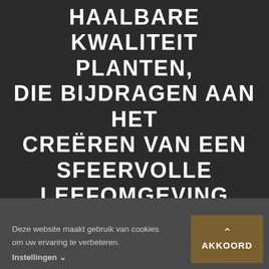HAALBARE KWALITEIT PLANTEN, DIE BIJDRAGEN AAN HET CREËREN VAN EEN SFEERVOLLE LEEFOMGEVING VAN DE CONSUMENT..
[/fusion_text][/fusion_builder_column] [/fusion_builder_row][/fusion_builder_container]
Deze website maakt gebruik van cookies om uw ervaring te verbeteren. Instellingen ∨